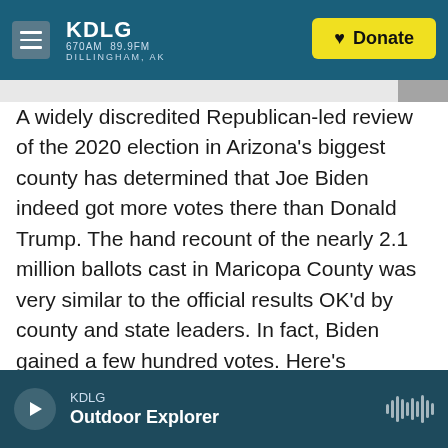KDLG 670AM 89.9FM DILLINGHAM, AK | Donate
A widely discredited Republican-led review of the 2020 election in Arizona's biggest county has determined that Joe Biden indeed got more votes there than Donald Trump. The hand recount of the nearly 2.1 million ballots cast in Maricopa County was very similar to the official results OK'd by county and state leaders. In fact, Biden gained a few hundred votes. Here's Republican State Senate President Karen Fann as she opened a presentation today to detail the results of the review.
KDLG Outdoor Explorer